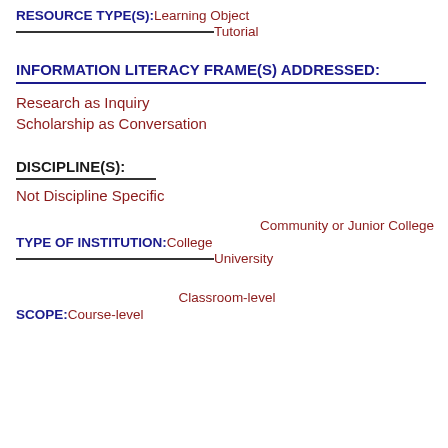RESOURCE TYPE(S): Learning Object Tutorial
INFORMATION LITERACY FRAME(S) ADDRESSED:
Research as Inquiry
Scholarship as Conversation
DISCIPLINE(S):
Not Discipline Specific
Community or Junior College
TYPE OF INSTITUTION: College University
Classroom-level
SCOPE: Course-level